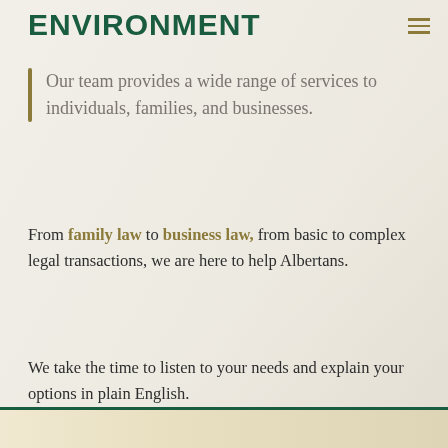ENVIRONMENT
Our team provides a wide range of services to individuals, families, and businesses.
From family law to business law, from basic to complex legal transactions, we are here to help Albertans.
We take the time to listen to your needs and explain your options in plain English.
[Figure (photo): Bottom strip showing partial image with teal border at the bottom of the page]